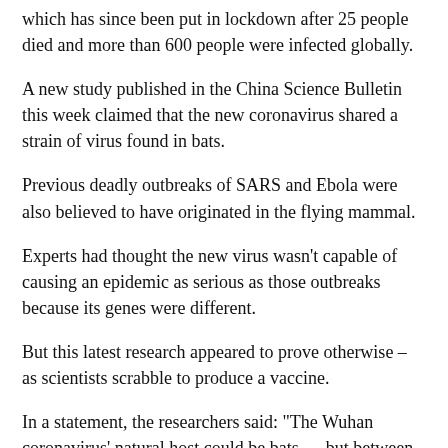which has since been put in lockdown after 25 people died and more than 600 people were infected globally.
A new study published in the China Science Bulletin this week claimed that the new coronavirus shared a strain of virus found in bats.
Previous deadly outbreaks of SARS and Ebola were also believed to have originated in the flying mammal.
Experts had thought the new virus wasn't capable of causing an epidemic as serious as those outbreaks because its genes were different.
But this latest research appeared to prove otherwise – as scientists scrabble to produce a vaccine.
In a statement, the researchers said: "The Wuhan coronavirus' natural host could be bats … but between bats and humans there may be an unknown intermediate."
Meanwhile, scientists at Peking University also claim that